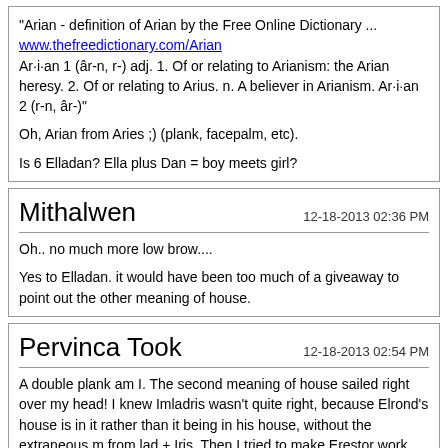"Arian - definition of Arian by the Free Online Dictionary ...
www.thefreedictionarycom/Arian
Ar·i·an 1 (âr-n, r-) adj. 1. Of or relating to Arianism: the Arian heresy. 2. Of or relating to Arius. n. A believer in Arianism. Ar·i·an 2 (r-n, âr-)"

Oh, Arian from Aries ;) (plank, facepalm, etc).

Is 6 Elladan? Ella plus Dan = boy meets girl?
Mithalwen
12-18-2013 02:36 PM

Oh.. no much more low brow....

Yes to Elladan. it would have been too much of a giveaway to point out the other meaning of house.
Pervinca Took
12-18-2013 02:54 PM

A double plank am I. The second meaning of house sailed right over my head! I knew Imladris wasn't quite right, because Elrond's house is in it rather than it being in his house, without the extraneous m from lad + Iris. Then I tried to make Erestor work ... I think he was in Elrond's house at least once! (I think he spoke at the Council).

They were darned challenging clues, and beautifully written!